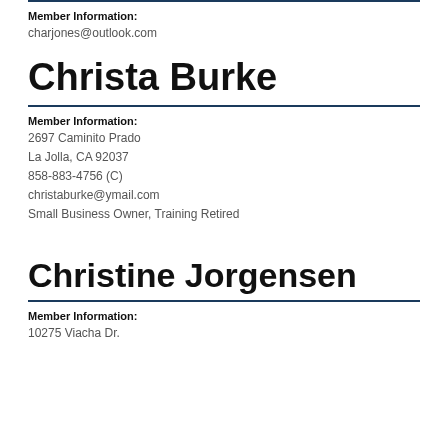Member Information:
charjones@outlook.com
Christa Burke
Member Information:
2697 Caminito Prado
La Jolla, CA 92037
858-883-4756 (C)
christaburke@ymail.com
Small Business Owner, Training Retired
Christine Jorgensen
Member Information:
10275 Viacha Dr.